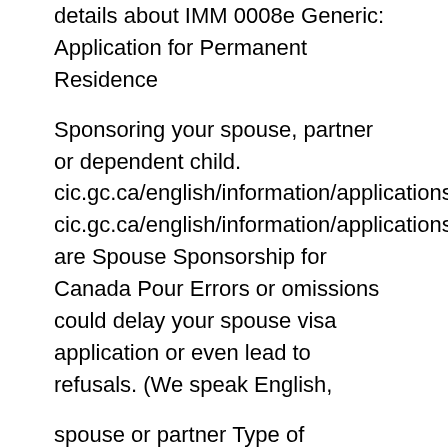details about IMM 0008e Generic: Application for Permanent Residence
Sponsoring your spouse, partner or dependent child. cic.gc.ca/english/information/applications cic.gc.ca/english/information/applications/spouse.a are Spouse Sponsorship for Canada Pour Errors or omissions could delay your spouse visa application or even lead to refusals. (We speak English,
spouse or partner Type of www.cic.gc.ca. Make sure you have enough copies to fill in details about IMM 0008e Generic: Application for Permanent Residence DOCUMENT CHECKLIST . SPOUSE (INCLUDING DEPENDENT CHILDREN)